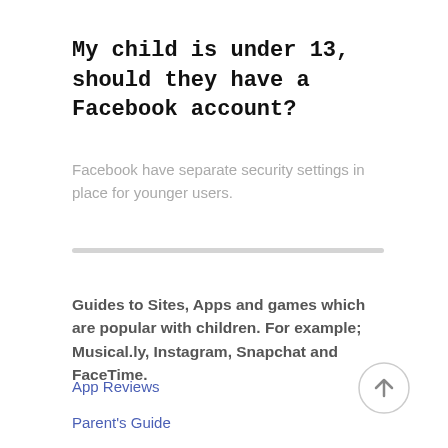My child is under 13, should they have a Facebook account?
Facebook have separate security settings in place for younger users.
Guides to Sites, Apps and games which are popular with children. For example; Musical.ly, Instagram, Snapchat and FaceTime.
App Reviews
Parent's Guide